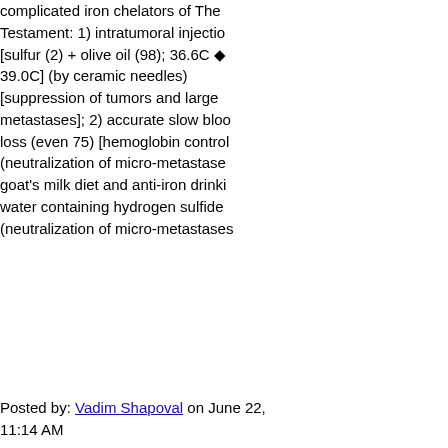complicated iron chelators of The Testament: 1) intratumoral injection [sulfur (2) + olive oil (98); 36.6C – 39.0C] (by ceramic needles) [suppression of tumors and large metastases]; 2) accurate slow blood loss (even 75) [hemoglobin control (neutralization of micro-metastases goat's milk diet and anti-iron drinking water containing hydrogen sulfide (neutralization of micro-metastases
Posted by: Vadim Shapoval on June 22, 11:14 AM
Otto Warburg and Somatic Evolution. According to Dr. Otto Warburg, there are prime and secondary causes of diseases. For example, the prime cause of the plague is the plague bacillus; secondary causes of the plague are filth, rats, and the fleas that transfer plague bacillus from rats to man. Cancer, above all other diseases, has countless secondary causes. Almost anything can cause cancer. But, even for cancer, there is only one prime